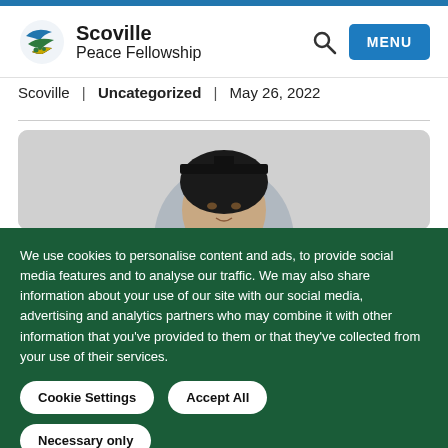Scoville Peace Fellowship | MENU
Scoville | Uncategorized | May 26, 2022
[Figure (photo): Young woman wearing a graduation cap, photo cropped to show face and top of head, light grey background.]
We use cookies to personalise content and ads, to provide social media features and to analyse our traffic. We may also share information about your use of our site with our social media, advertising and analytics partners who may combine it with other information that you've provided to them or that they've collected from your use of their services.
Cookie Settings | Accept All | Necessary only